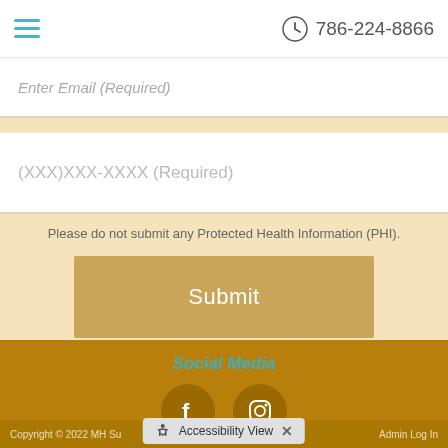786-224-8866
Enter Email (Required)
(XXX)XXX-XXXX (Required)
Please do not submit any Protected Health Information (PHI).
Submit
Social Media
[Figure (other): Facebook and Instagram social media icon circles on dark gold background]
Copyright © 2022 MH Su... Admin Log In